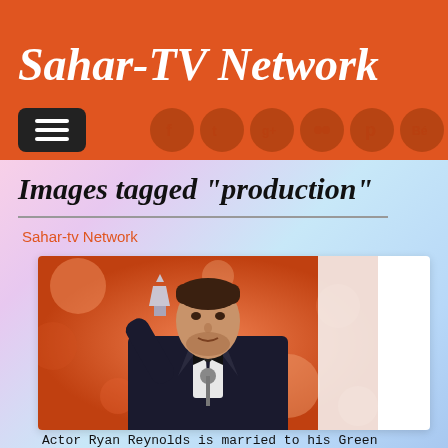Sahar-TV Network
Images tagged "production"
Sahar-tv Network
[Figure (photo): Actor Ryan Reynolds in a tuxedo holding a crystal award on stage at an awards ceremony, bokeh orange background]
Actor Ryan Reynolds is married to his Green Lantern co-star, Blake atively. The actor...